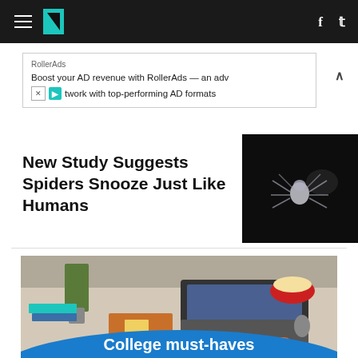HuffPost navigation with logo, hamburger menu, Facebook and Twitter icons
[Figure (screenshot): RollerAds advertisement banner: 'RollerAds — Boost your AD revenue with RollerAds — an adv network with top-performing AD formats']
New Study Suggests Spiders Snooze Just Like Humans
[Figure (photo): Spider on dark black background, white/silver coloring, appears to be hanging or floating]
[Figure (photo): Overhead view of person typing on laptop at desk with plant, books, popcorn, orange sleeves visible; blue banner at bottom reading 'College must-haves']